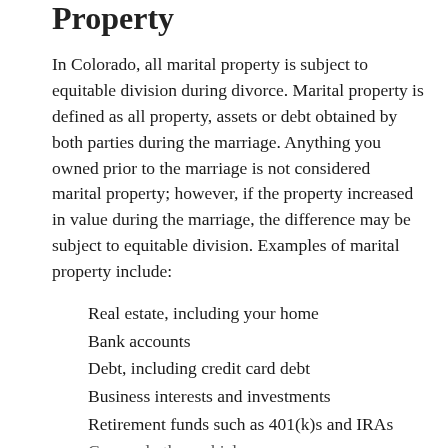Property
In Colorado, all marital property is subject to equitable division during divorce. Marital property is defined as all property, assets or debt obtained by both parties during the marriage. Anything you owned prior to the marriage is not considered marital property; however, if the property increased in value during the marriage, the difference may be subject to equitable division. Examples of marital property include:
Real estate, including your home
Bank accounts
Debt, including credit card debt
Business interests and investments
Retirement funds such as 401(k)s and IRAs
Cars and other vehicles